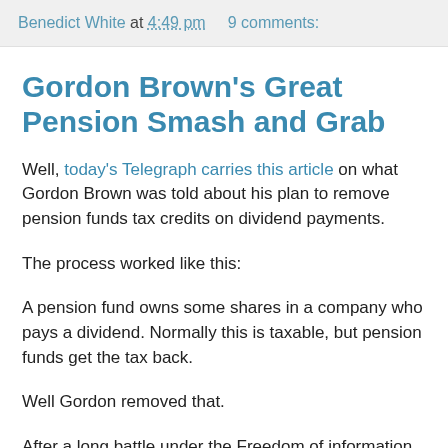Benedict White at 4:49 pm   9 comments:
Gordon Brown's Great Pension Smash and Grab
Well, today's Telegraph carries this article on what Gordon Brown was told about his plan to remove pension funds tax credits on dividend payments.
The process worked like this:
A pension fund owns some shares in a company who pays a dividend. Normally this is taxable, but pension funds get the tax back.
Well Gordon removed that.
After a long battle under the Freedom of information act